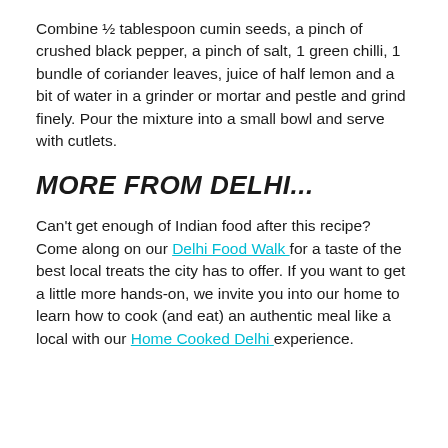Combine ½ tablespoon cumin seeds, a pinch of crushed black pepper, a pinch of salt, 1 green chilli, 1 bundle of coriander leaves, juice of half lemon and a bit of water in a grinder or mortar and pestle and grind finely. Pour the mixture into a small bowl and serve with cutlets.
MORE FROM DELHI...
Can't get enough of Indian food after this recipe? Come along on our Delhi Food Walk for a taste of the best local treats the city has to offer. If you want to get a little more hands-on, we invite you into our home to learn how to cook (and eat) an authentic meal like a local with our Home Cooked Delhi experience.